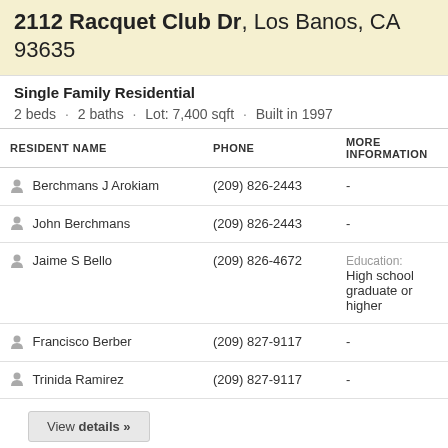2112 Racquet Club Dr, Los Banos, CA 93635
Single Family Residential
2 beds · 2 baths · Lot: 7,400 sqft · Built in 1997
| RESIDENT NAME | PHONE | MORE INFORMATION |
| --- | --- | --- |
| Berchmans J Arokiam | (209) 826-2443 | - |
| John Berchmans | (209) 826-2443 | - |
| Jaime S Bello | (209) 826-4672 | Education: High school graduate or higher |
| Francisco Berber | (209) 827-9117 | - |
| Trinida Ramirez | (209) 827-9117 | - |
View details »